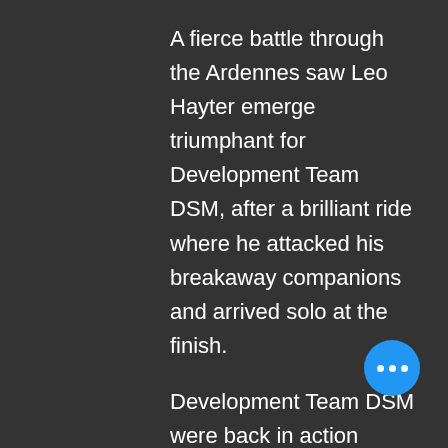A fierce battle through the Ardennes saw Leo Hayter emerge triumphant for Development Team DSM, after a brilliant ride where he attacked his breakaway companions and arrived solo at the finish.
Development Team DSM were back in action today for the U23 version of Liège – Bastogne – Liège. Just like the elite edition, the peloton would be faced with an incredibly demanding parcours with constantly rolling roads and almost 3000 metres of elevation spread over the 170 kilometre route
It was a frenetic start to the day with
[Figure (other): Blue circular button with three white dots (ellipsis/more options button)]